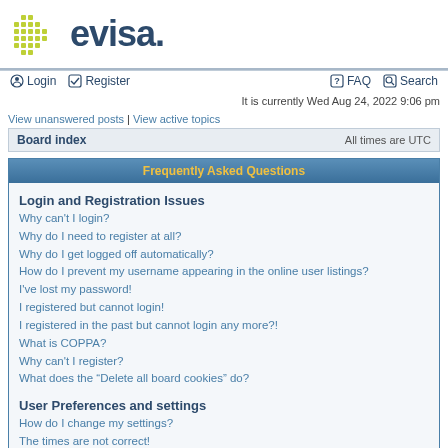[Figure (logo): evisa. logo with green dotted cross/plus icon and dark blue bold text 'evisa.']
Login | Register | FAQ | Search
It is currently Wed Aug 24, 2022 9:06 pm
View unanswered posts | View active topics
Board index    All times are UTC
Frequently Asked Questions
Login and Registration Issues
Why can't I login?
Why do I need to register at all?
Why do I get logged off automatically?
How do I prevent my username appearing in the online user listings?
I've lost my password!
I registered but cannot login!
I registered in the past but cannot login any more?!
What is COPPA?
Why can't I register?
What does the "Delete all board cookies" do?
User Preferences and settings
How do I change my settings?
The times are not correct!